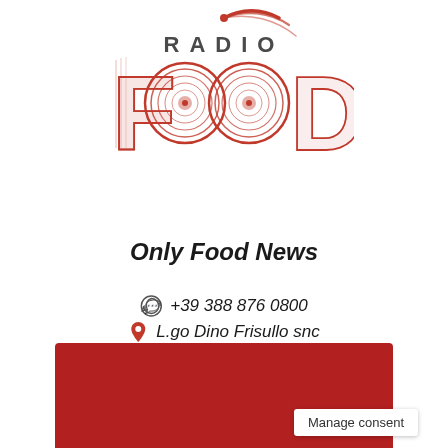[Figure (logo): Radio Food logo — 'RADIO' text above large red stylized 'FOOD' letters with concentric circle patterns in the O letters and a radio antenna arc above]
Only Food News
+39 388 876 0800
L.go Dino Frisullo snc
info@radio-food.it
[Figure (illustration): Social media icons: Facebook, Instagram, Twitter in dark red/maroon color]
[Figure (other): Red banner footer area at bottom of page]
Manage consent